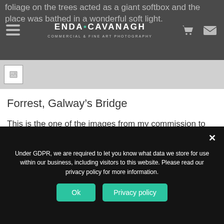ENDA CAVANAGH — COMMERCIAL & FINE ART PHOTOGRAPHY
[Figure (screenshot): Thumbnail image placeholder strip below navigation bar]
Forrest, Galway's Bridge
This is the one of the images from my commission to photograph locations around the south of Ireland. They were used for huge vinyl wall coverings in the new Quest Software Offices in Cork. I loved shooting the forest locations. The first 2 locations are 3608 shots...
Under GDPR, we are required to let you know what data we store for use within our business, including visitors to this website. Please read our privacy policy for more information.